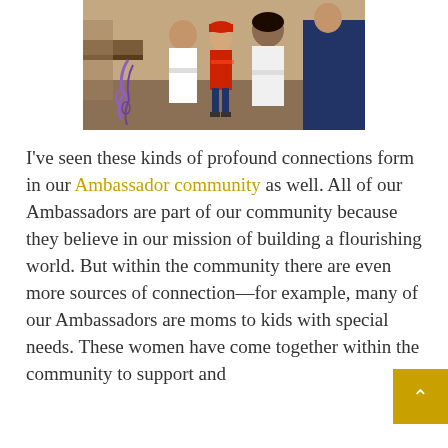[Figure (photo): Photo of people at an indoor gathering or event. A child in a red dress/outfit stands in the center, with adults around them. There are colorful decorations including what appears to be purple streamers or ribbons visible.]
I've seen these kinds of profound connections form in our Ambassador community as well. All of our Ambassadors are part of our community because they believe in our mission of building a flourishing world. But within the community there are even more sources of connection—for example, many of our Ambassadors are moms to kids with special needs. These women have come together within the community to support and